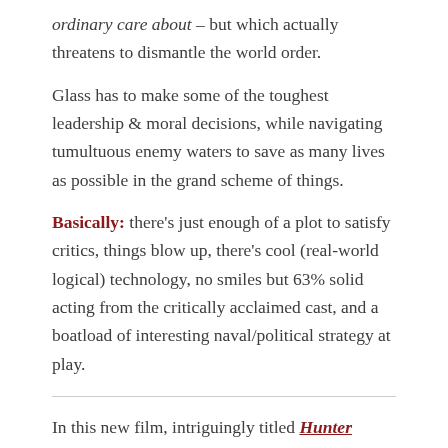ordinary care about – but which actually threatens to dismantle the world order.
Glass has to make some of the toughest leadership & moral decisions, while navigating tumultuous enemy waters to save as many lives as possible in the grand scheme of things.
Basically: there's just enough of a plot to satisfy critics, things blow up, there's cool (real-world logical) technology, no smiles but 63% solid acting from the critically acclaimed cast, and a boatload of interesting naval/political strategy at play.
In this new film, intriguingly titled 'Hunter Killer', Gerard Butler's character could essentially pass as the earlier